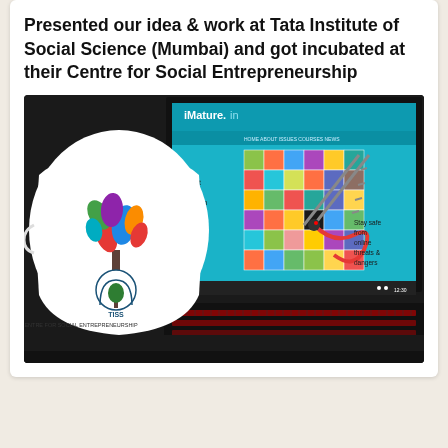Presented our idea & work at Tata Institute of Social Science (Mumbai) and got incubated at their Centre for Social Entrepreneurship
[Figure (photo): Photo of a TISS Centre for Social Entrepreneurship branded mug in front of a laptop screen showing the iMature.in website. The laptop screen displays a snakes and ladders style game board on a teal background. The mug features a colorful tree design and the TISS logo.]